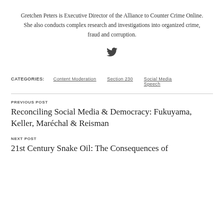Gretchen Peters is Executive Director of the Alliance to Counter Crime Online. She also conducts complex research and investigations into organized crime, fraud and corruption.
[Figure (logo): Twitter bird icon]
CATEGORIES:  Content Moderation  Section 230  Social Media Speech
PREVIOUS POST
Reconciling Social Media & Democracy: Fukuyama, Keller, Maréchal & Reisman
NEXT POST
21st Century Snake Oil: The Consequences of